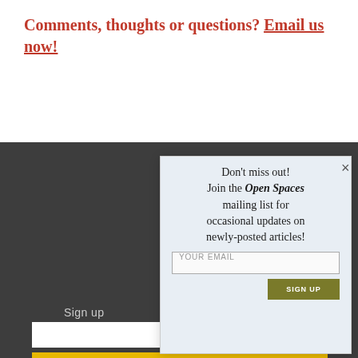Comments, thoughts or questions? Email us now!
Sign up
[Figure (logo): Open Spaces News logo, partial view showing teal circular O and 'OPE' text on dark background]
Copyright © 2022 Open Spaces P... in whole or in part...
Don't miss out! Join the Open Spaces mailing list for occasional updates on newly-posted articles!
YOUR EMAIL
SIGN UP